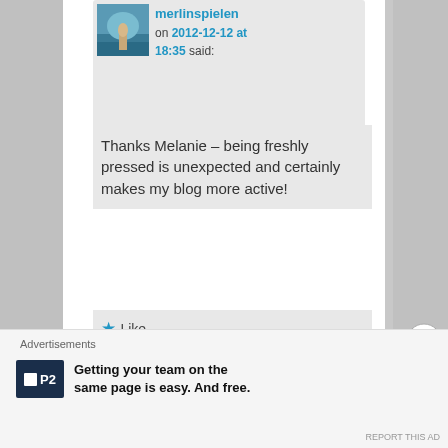merlinspielen on 2012-12-12 at 18:35 said:
Thanks Melanie – being freshly pressed is unexpected and certainly makes my blog more active!
Like
Reply ↓
Advertisements
Getting your team on the same page is easy. And free.